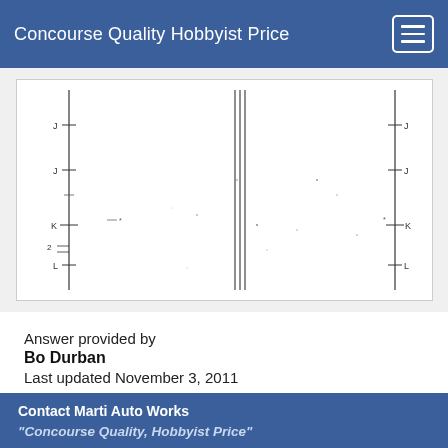Concourse Quality Hobbyist Price
[Figure (engineering-diagram): Engineering schematic diagram showing vertical measurement lines and reference points labeled with letters J, K, L on both left and right sides, with parallel vertical lines in the center section. The diagram appears to be a technical drawing with tick marks along the vertical bars.]
Answer provided by
Bo Durban
Last updated November 3, 2011
Contact Marti Auto Works
"Concourse Quality, Hobbyist Price"
13238 W Butler Drive
El Mirage, AZ 85335
Phone (623) 935-2558
Fax (623) 935-2579